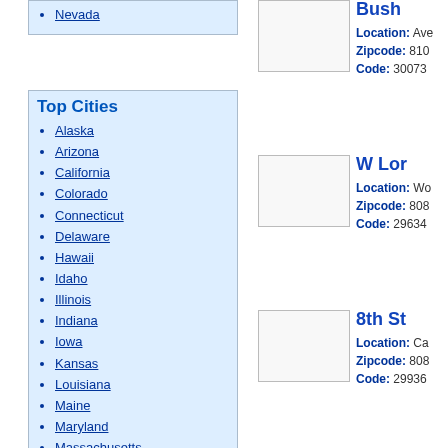Nevada
Top Cities
Alaska
Arizona
California
Colorado
Connecticut
Delaware
Hawaii
Idaho
Illinois
Indiana
Iowa
Kansas
Louisiana
Maine
Maryland
Massachusetts
Michigan
Bush
Location: Ave
Zipcode: 810
Code: 30073
W Lor
Location: Wo
Zipcode: 808
Code: 29634
8th St
Location: Ca
Zipcode: 808
Code: 29936
8th St
Location: Ala